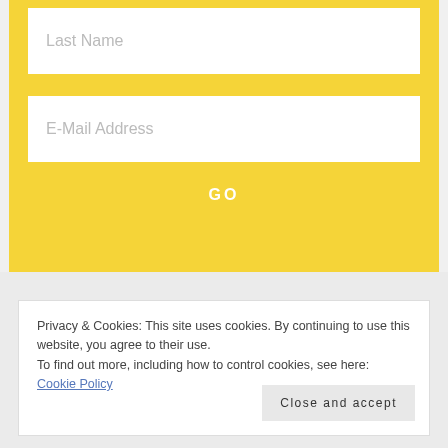[Figure (screenshot): Web form input field with placeholder text 'Last Name' on yellow background]
[Figure (screenshot): Web form input field with placeholder text 'E-Mail Address' on yellow background]
GO
Privacy & Cookies: This site uses cookies. By continuing to use this website, you agree to their use.
To find out more, including how to control cookies, see here: Cookie Policy
Close and accept